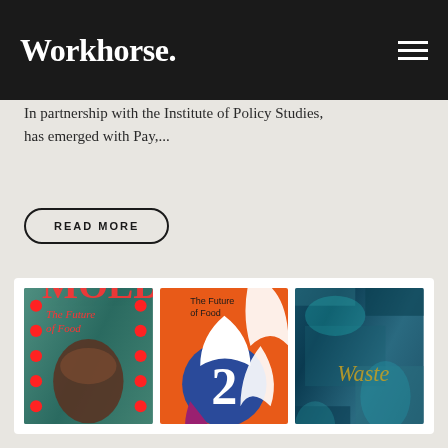Workhorse.
In partnership with the Institute of Policy Studies, has emerged with Pay,...
READ MORE
[Figure (photo): Three magazine covers of MOLD magazine displayed side by side: left cover shows 'The Future of Food / Designing for the Human Microbiome' with red dots on teal background; middle cover shows 'The Future of Food 2' with orange background and abstract black/white/purple design; right cover shows 'MOLD Waste' with dark teal textured background.]